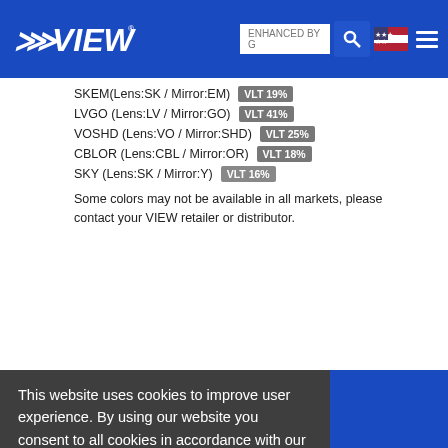VIEW — website header with logo, search, flag, menu
SKEM(Lens:SK / Mirror:EM) VLT 19%
LVGO (Lens:LV / Mirror:GO) VLT 41%
VOSHD (Lens:VO / Mirror:SHD) VLT 25%
CBLOR (Lens:CBL / Mirror:OR) VLT 18%
SKY (Lens:SK / Mirror:Y) VLT 16%
Some colors may not be available in all markets, please contact your VIEW retailer or distributor.
This website uses cookies to improve user experience. By using our website you consent to all cookies in accordance with our Cookie Policy. Read more
I disagree | I agree